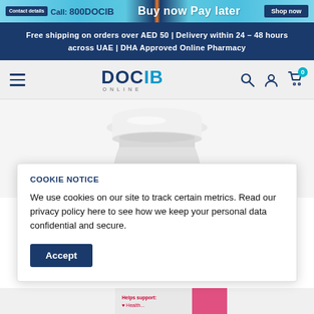Call: 800DOCIB | Buy now Pay later | Shop now
Free shipping on orders over AED 50 | Delivery within 24 – 48 hours across UAE | DHA Approved Online Pharmacy
[Figure (logo): DOCIB ONLINE pharmacy logo with hamburger menu and navigation icons]
[Figure (photo): White supplement bottle cap against white/grey background]
COOKIE NOTICE

We use cookies on our site to track certain metrics. Read our privacy policy here to see how we keep your personal data confidential and secure.

Accept